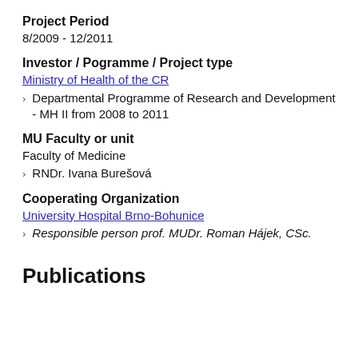Project Period
8/2009 - 12/2011
Investor / Pogramme / Project type
Ministry of Health of the CR
Departmental Programme of Research and Development - MH II from 2008 to 2011
MU Faculty or unit
Faculty of Medicine
RNDr. Ivana Burešová
Cooperating Organization
University Hospital Brno-Bohunice
Responsible person prof. MUDr. Roman Hájek, CSc.
Publications